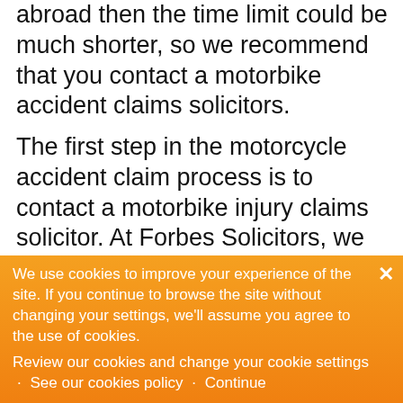abroad then the time limit could be much shorter, so we recommend that you contact a motorbike accident claims solicitors.
The first step in the motorcycle accident claim process is to contact a motorbike injury claims solicitor. At Forbes Solicitors, we offer a free initial consultation. If we think you have a case, then we can take it on for a no win no fee basis.
We will then put in a compensation claim to the insurance company of those at fault for both personal injury and any financial losses you may have occurred. You may need to be seen
We use cookies to improve your experience of the site. If you continue to browse the site without changing your settings, we'll assume you agree to the use of cookies. Review our cookies and change your cookie settings · See our cookies policy · Continue